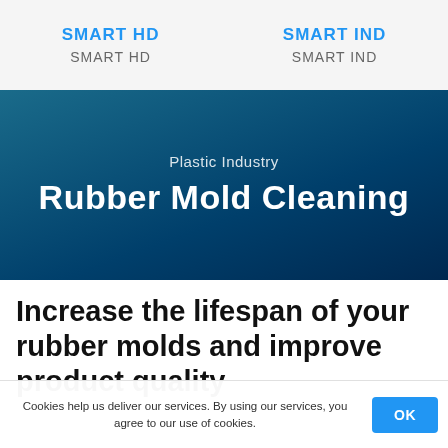SMART HD
SMART IND
Plastic Industry
Rubber Mold Cleaning
Increase the lifespan of your rubber molds and improve product quality
Cookies help us deliver our services. By using our services, you agree to our use of cookies. OK